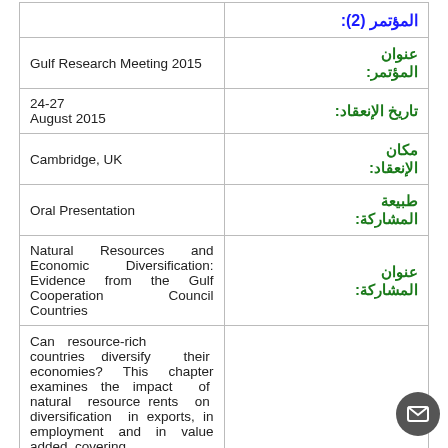| المؤتمر (2): |  |
| --- | --- |
| عنوان المؤتمر: | Gulf Research Meeting 2015 |
| تاريخ الإنعقاد: | 24-27 August 2015 |
| مكان الإنعقاد: | Cambridge, UK |
| طبيعة المشاركة: | Oral Presentation |
| عنوان المشاركة: | Natural Resources and Economic Diversification: Evidence from the Gulf Cooperation Council Countries |
|  | Can resource-rich countries diversify their economies? This chapter examines the impact of natural resource rents on diversification in exports, in employment and in value added, covering |